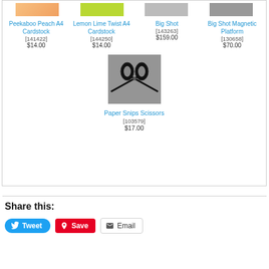[Figure (photo): Peekaboo Peach A4 Cardstock - orange/peach colored rectangle swatch]
Peekaboo Peach A4 Cardstock
[141422]
$14.00
[Figure (photo): Lemon Lime Twist A4 Cardstock - lime green colored rectangle swatch]
Lemon Lime Twist A4 Cardstock
[144250]
$14.00
[Figure (photo): Big Shot machine photo]
Big Shot
[143263]
$159.00
[Figure (photo): Big Shot Magnetic Platform photo]
Big Shot Magnetic Platform
[130658]
$70.00
[Figure (photo): Paper Snips Scissors - black handled scissors on gray background]
Paper Snips Scissors
[103579]
$17.00
Share this:
Tweet  Save  Email